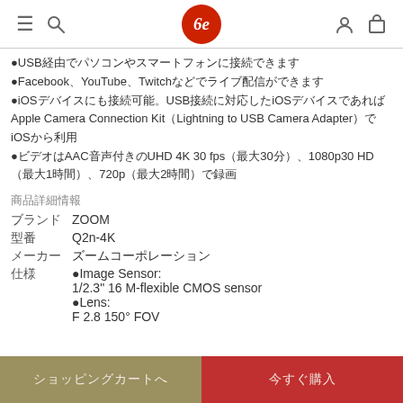Navigation header with hamburger menu, search icon, logo, user icon, cart icon
●USB経由でパソコンやスマートフォンに接続できます
●Facebook、YouTube、Twitchなどでライブ配信ができます
●iOSデバイスにも接続可能。USB接続に対応したiOSデバイスであればApple Camera Connection Kit（Lightning to USB Camera Adapter）でiOSから利用
●ビデオはAAC音声付きのUHD 4K 30 fps（最大30分）、1080p30 HD（最大1時間）、720p（最大2時間）で録画
商品詳細情報
ブランド　ZOOM
型番　Q2n-4K
メーカー　ズームコーポレーション
仕様　●Image Sensor: 1/2.3" 16 M-flexible CMOS sensor ●Lens: F 2.8  150° FOV
ショッピングカートへ　　今すぐ購入